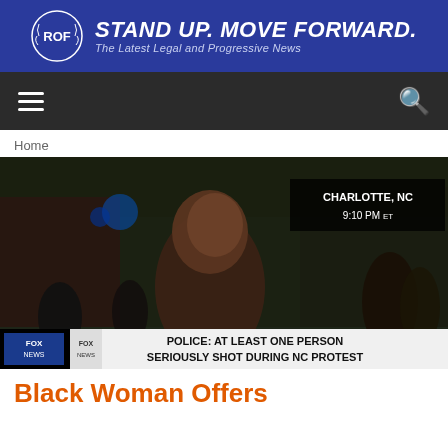[Figure (logo): ROF website banner with logo and tagline: STAND UP. MOVE FORWARD. The Latest Legal and Progressive News]
Home
[Figure (screenshot): Fox News broadcast screenshot showing a protest scene in Charlotte, NC at 9:10 PM ET. Lower-third text reads: POLICE: AT LEAST ONE PERSON SERIOUSLY SHOT DURING NC PROTEST]
Black Woman Offers